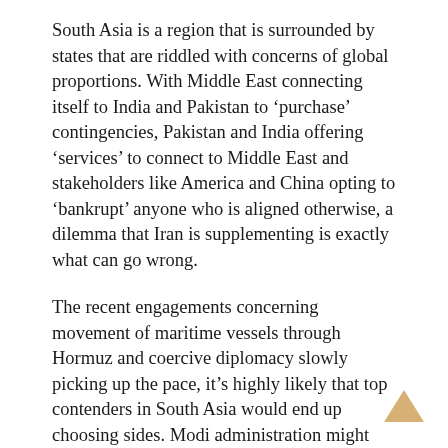South Asia is a region that is surrounded by states that are riddled with concerns of global proportions. With Middle East connecting itself to India and Pakistan to ‘purchase’ contingencies, Pakistan and India offering ‘services’ to connect to Middle East and stakeholders like America and China opting to ‘bankrupt’ anyone who is aligned otherwise, a dilemma that Iran is supplementing is exactly what can go wrong.
The recent engagements concerning movement of maritime vessels through Hormuz and coercive diplomacy slowly picking up the pace, it’s highly likely that top contenders in South Asia would end up choosing sides. Modi administration might not aim at reinvigorating how India operated during post-9/11 engagements as it obstructed India’s